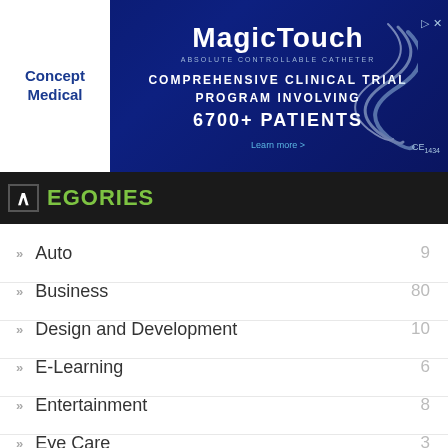[Figure (screenshot): Advertisement banner for Concept Medical MagicTouch product. Blue background with white Concept Medical logo on left. Text reads: MagicTouch, COMPREHENSIVE CLINICAL TRIAL PROGRAM INVOLVING 6700+ PATIENTS. Learn more arrow. CE1434 mark.]
CATEGORIES
Auto 9
Business 80
Design and Development 10
E-Learning 6
Entertainment 8
Eye Care 3
Fashion 13
Fitness 8
Hair 3
Health 50